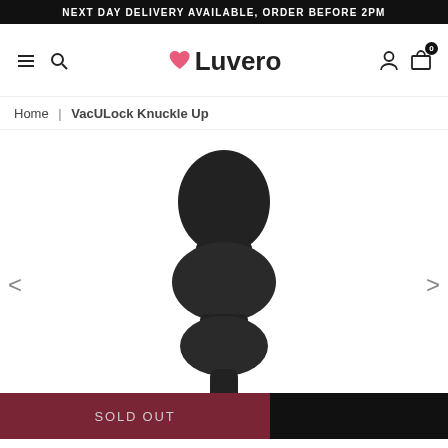NEXT DAY DELIVERY AVAILABLE, ORDER BEFORE 2PM
[Figure (screenshot): Luvero e-commerce website header with hamburger menu, search icon, heart logo, user icon, and cart icon with badge 0]
Home | VacULock Knuckle Up
[Figure (photo): Black segmented anal plug product (VacULock Knuckle Up) on white background, with navigation arrows on left and right, and a sold out banner at the bottom left]
SOLD OUT